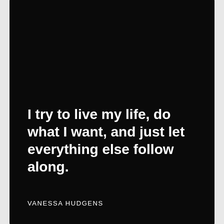I try to live my life, do what I want, and just let everything else follow along.
VANESSA HUDGENS